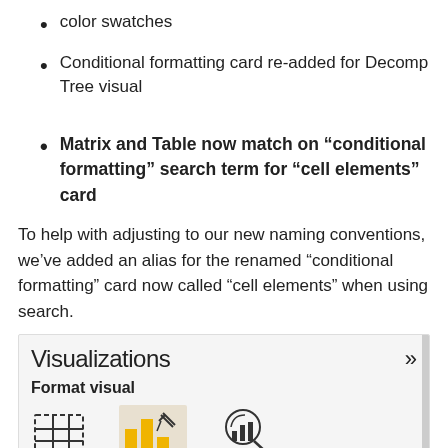color swatches
Conditional formatting card re-added for Decomp Tree visual
Matrix and Table now match on “conditional formatting” search term for “cell elements” card
To help with adjusting to our new naming conventions, we’ve added an alias for the renamed “conditional formatting” card now called “cell elements” when using search.
[Figure (screenshot): Screenshot of Power BI Visualizations panel showing Format visual section with icons for table, bar chart, and analytics/search visual types. Header shows 'Visualizations' with double chevron and a vertical scrollbar on the right.]